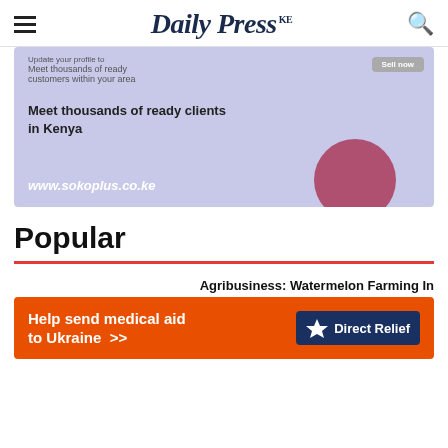Daily Press KE
[Figure (infographic): Purple/lavender advertisement banner for sokoplus.co.ke with text 'Meet thousands of ready clients in Kenya' and a pink/mauve circle decoration]
Popular
Agribusiness: Watermelon Farming In
[Figure (infographic): Orange advertisement banner: 'Help send medical aid to Ukraine >>' with Direct Relief logo on dark blue background]